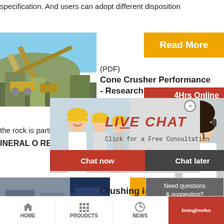specification. And users can adopt different disposition
[Figure (photo): Industrial cone crusher / mining equipment outdoors]
Read More
(PDF) Cone Crusher Performance - ResearchGa...
4Hrs Online
[Figure (photo): Live chat popup with workers in hard hats and a headset support agent]
LIVE CHAT
Click for a Free Consultation
Chat now
Chat later
the rock is parti...
INERAL O RES...
[Figure (photo): Crushing machinery and equipment at mine site]
Crushing in M...
Need questions & suggestion?
Chat Now
Enquiry
limingjlmofen
HOME   PROUDCTS   NEWS   limingjlmofen